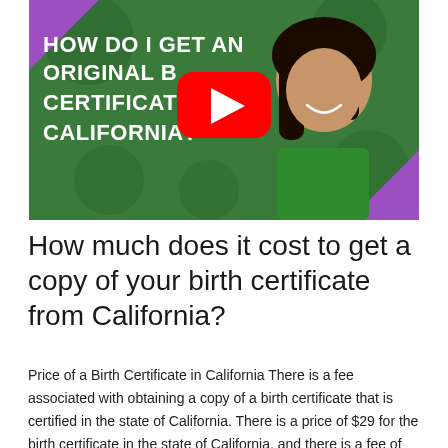[Figure (screenshot): YouTube video thumbnail showing a woman in a green shirt smiling, with large bold white text reading 'HOW DO I GET AN ORIGINAL BIRTH CERTIFICATE IN CALIFORNIA?' on a green background with dark green shapes. A YouTube play button (red with white triangle) is centered on the image. Purple triangles visible in corners.]
How much does it cost to get a copy of your birth certificate from California?
Price of a Birth Certificate in California There is a fee associated with obtaining a copy of a birth certificate that is certified in the state of California. There is a price of $29 for the birth certificate in the state of California, and there is a fee of $29 for each